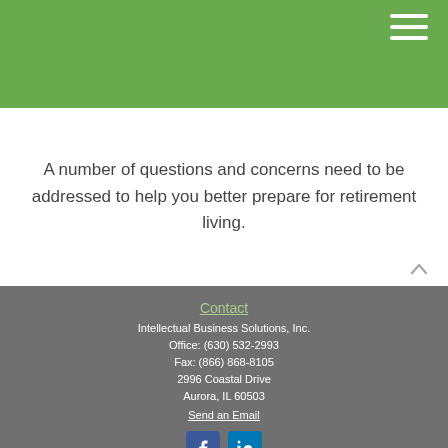A number of questions and concerns need to be addressed to help you better prepare for retirement living.
Contact
Intellectual Business Solutions, Inc.
Office: (630) 532-2993
Fax: (866) 868-8105
2996 Coastal Drive
Aurora, IL 60503
Send an Email
[Figure (logo): Facebook and LinkedIn social media icons]
Quick Links